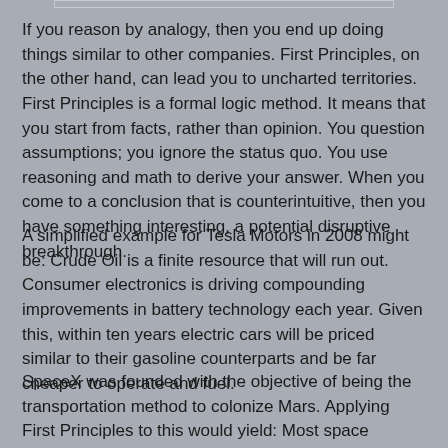If you reason by analogy, then you end up doing things similar to other companies. First Principles, on the other hand, can lead you to uncharted territories. First Principles is a formal logic method. It means that you start from facts, rather than opinion. You question assumptions; you ignore the status quo. You use reasoning and math to derive your answer. When you come to a conclusion that is counterintuitive, then you have something interesting, a potential disruptive breakthrough.
A simplified example for Tesla Motors in 2008 might be: Crude Oil is a finite resource that will run out. Consumer electronics is driving compounding improvements in battery technology each year. Given this, within ten years electric cars will be priced similar to their gasoline counterparts and be far cheaper to operate and fuel.
SpaceX was founded with the objective of being the transportation method to colonize Mars. Applying First Principles to this would yield: Most space launches cost hundreds of millions of dollars. Given this cost, the multiple